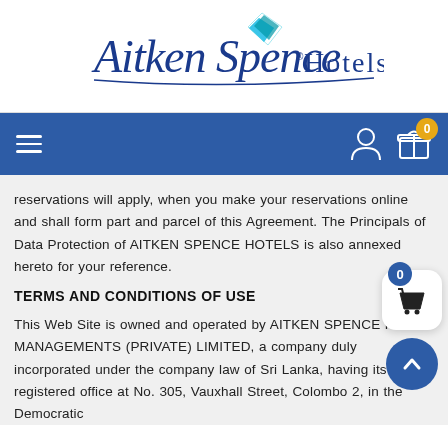[Figure (logo): Aitken Spence Hotels logo with script text and diamond gem icon]
[Figure (screenshot): Navigation bar with hamburger menu, user icon, and gift/cart icon with badge showing 0]
reservations will apply, when you make your reservations online and shall form part and parcel of this Agreement. The Principals of Data Protection of AITKEN SPENCE HOTELS is also annexed hereto for your reference.
TERMS AND CONDITIONS OF USE
This Web Site is owned and operated by AITKEN SPENCE HOTEL MANAGEMENTS (PRIVATE) LIMITED, a company duly incorporated under the company law of Sri Lanka, having its registered office at No. 305, Vauxhall Street, Colombo 2, in the Democratic